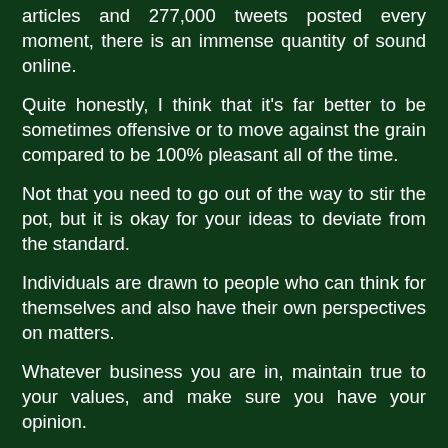articles and 277,000 tweets posted every moment, there is an immense quantity of sound online.
Quite honestly, I think that it's far better to be sometimes offensive or to move against the grain compared to be 100% pleasant all of the time.
Not that you need to go out of the way to stir the pot, but it is okay for your ideas to deviate from the standard.
Individuals are drawn to people who can think for themselves and also have their own perspectives on matters.
Whatever business you are in, maintain true to your values, and make sure you have your opinion.
This is vital for finally becoming an influencer.